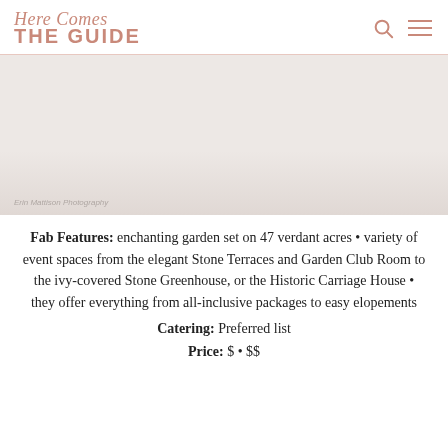Here Comes THE GUIDE
[Figure (photo): Photo area showing a garden venue, mostly light/blurred. Credit: Erin Mattison Photography]
Erin Mattison Photography
Fab Features: enchanting garden set on 47 verdant acres • variety of event spaces from the elegant Stone Terraces and Garden Club Room to the ivy-covered Stone Greenhouse, or the Historic Carriage House • they offer everything from all-inclusive packages to easy elopements
Catering: Preferred list
Price: $ • $$